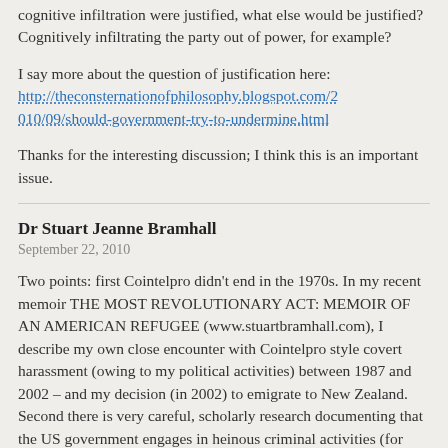cognitive infiltration were justified, what else would be justified? Cognitively infiltrating the party out of power, for example?
I say more about the question of justification here: http://theconsternationofphilosophy.blogspot.com/2010/09/should-government-try-to-undermine.html
Thanks for the interesting discussion; I think this is an important issue.
Dr Stuart Jeanne Bramhall
September 22, 2010
Two points: first Cointelpro didn't end in the 1970s. In my recent memoir THE MOST REVOLUTIONARY ACT: MEMOIR OF AN AMERICAN REFUGEE (www.stuartbramhall.com), I describe my own close encounter with Cointelpro style covert harassment (owing to my political activities) between 1987 and 2002 – and my decision (in 2002) to emigrate to New Zealand. Second there is very careful, scholarly research documenting that the US government engages in heinous criminal activities (for example,